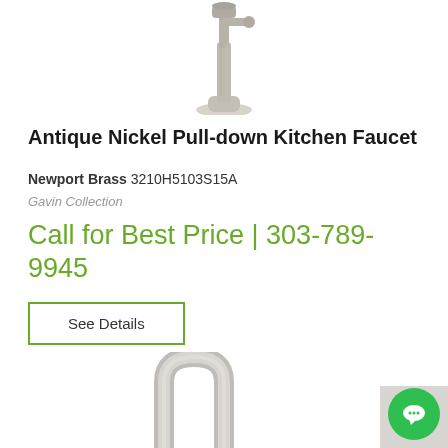[Figure (photo): Top portion of an antique nickel pull-down kitchen faucet, showing the upper neck and mounting base on a white background]
Antique Nickel Pull-down Kitchen Faucet
Newport Brass 3210H5103S15A
Gavin Collection
Call for Best Price | 303-789-9945
See Details
[Figure (photo): Bottom portion of a brushed nickel kitchen faucet arc/neck on a white background, partially cropped]